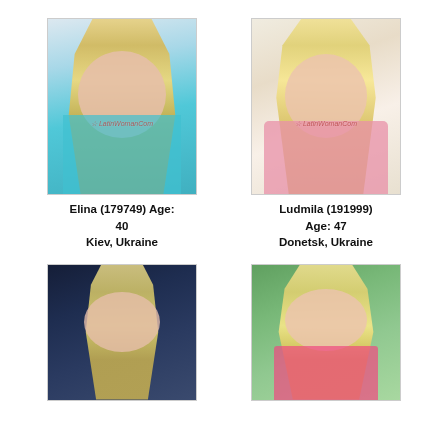[Figure (photo): Portrait photo of a blonde woman in a teal off-shoulder top with watermark]
[Figure (photo): Portrait photo of a blonde woman in a pink top with watermark]
Elina (179749) Age: 40
Kiev, Ukraine
Ludmila (191999) Age: 47
Donetsk, Ukraine
[Figure (photo): Portrait photo of a young blonde woman with dark background]
[Figure (photo): Portrait photo of a blonde woman in pink with green background]